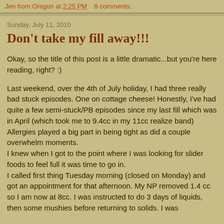Jen from Oregon at 2:25 PM   8 comments:
Sunday, July 11, 2010
Don't take my fill away!!!
Okay, so the title of this post is a little dramatic...but you're here reading, right? :)

Last weekend, over the 4th of July holiday, I had three really bad stuck episodes. One on cottage cheese! Honestly, I've had quite a few semi-stuck/PB episodes since my last fill which was in April (which took me to 9.4cc in my 11cc realize band)
Allergies played a big part in being tight as did a couple overwhelm moments.
I knew when I got to the point where I was looking for slider foods to feel full it was time to go in.
I called first thing Tuesday morning (closed on Monday) and got an appointment for that afternoon. My NP removed 1.4 cc so I am now at 8cc. I was instructed to do 3 days of liquids, then some mushies before returning to solids. I was